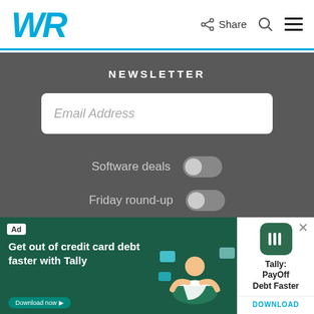WR | Share
NEWSLETTER
Email Address
Software deals
Friday round-up
Subscribe
[Figure (screenshot): Advertisement banner: 'Get out of credit card debt faster with Tally' on dark green background with illustration of person meditating]
Tally: PayOff Debt Faster
DOWNLOAD